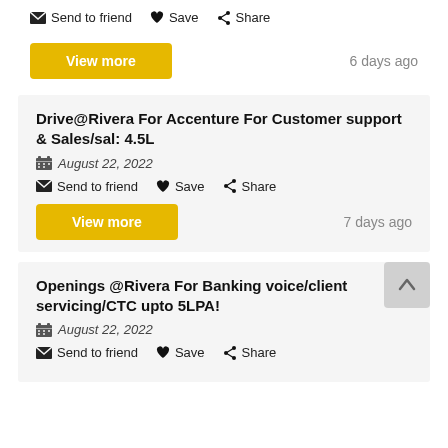Send to friend  Save  Share
View more  6 days ago
Drive@Rivera For Accenture For Customer support & Sales/sal: 4.5L
August 22, 2022
Send to friend  Save  Share
View more  7 days ago
Openings @Rivera For Banking voice/client servicing/CTC upto 5LPA!
August 22, 2022
Send to friend  Save  Share